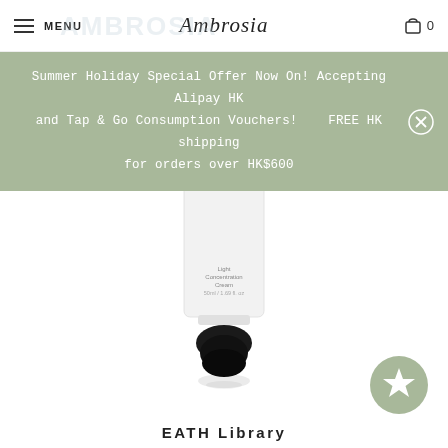MENU | Ambrosia | 0
Summer Holiday Special Offer Now On! Accepting Alipay HK and Tap & Go Consumption Vouchers!    FREE HK shipping for orders over HK$600
[Figure (photo): White skincare tube labeled 'Light Concentration Cream 50ml / 1.69 fl. oz' with a rounded black applicator cap at the bottom, shown with a shadow reflection below it.]
EATH Library